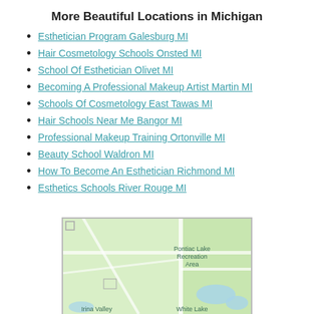More Beautiful Locations in Michigan
Esthetician Program Galesburg MI
Hair Cosmetology Schools Onsted MI
School Of Esthetician Olivet MI
Becoming A Professional Makeup Artist Martin MI
Schools Of Cosmetology East Tawas MI
Hair Schools Near Me Bangor MI
Professional Makeup Training Ortonville MI
Beauty School Waldron MI
How To Become An Esthetician Richmond MI
Esthetics Schools River Rouge MI
[Figure (map): Google map showing Pontiac Lake Recreation Area and White Lake area in Michigan]